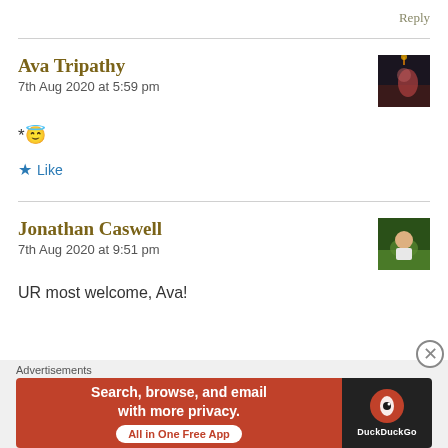Reply
Ava Tripathy
7th Aug 2020 at 5:59 pm
* 😇
★ Like
Jonathan Caswell
7th Aug 2020 at 9:51 pm
UR most welcome, Ava!
Advertisements
[Figure (screenshot): DuckDuckGo advertisement banner: 'Search, browse, and email with more privacy. All in One Free App' on orange background, DuckDuckGo logo on dark background]